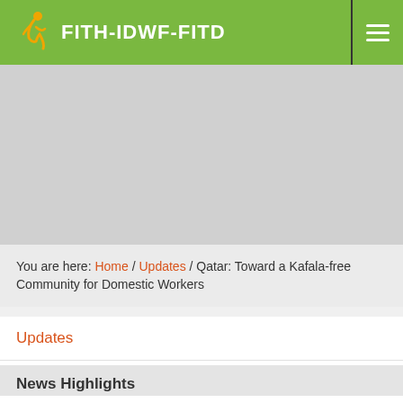FITH-IDWF-FITD
[Figure (illustration): Gray placeholder image area below the navigation header]
You are here: Home / Updates / Qatar: Toward a Kafala-free Community for Domestic Workers
Updates
News
Stories
News Highlights